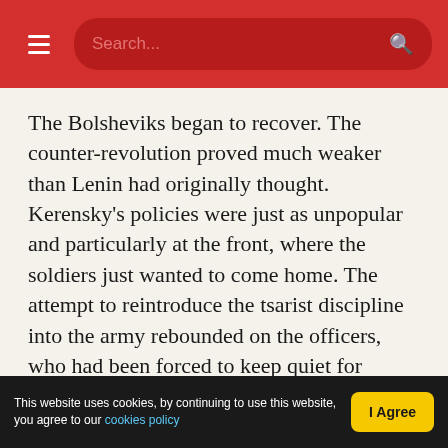Search...
The Bolsheviks began to recover. The counter-revolution proved much weaker than Lenin had originally thought. Kerensky's policies were just as unpopular and particularly at the front, where the soldiers just wanted to come home. The attempt to reintroduce the tsarist discipline into the army rebounded on the officers, who had been forced to keep quiet for months after February.
The Menshevik and SR leaders began to lose their hold on sections of the workers and the left
This website uses cookies, by continuing to use this website, you agree to our cookies policy  I Agree